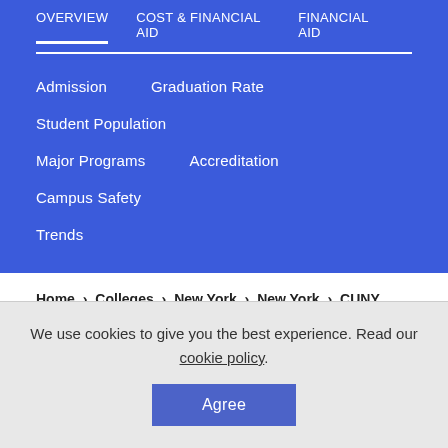OVERVIEW  COST & FINANCIAL AID  FINANCIAL AID
Admission
Graduation Rate
Student Population
Major Programs
Accreditation
Campus Safety
Trends
Home › Colleges › New York › New York › CUNY Bernard M Baruch College
Directory Information
Address   One Bernard Baruch Way (55 Lexington Ave at 24th St) New York, NY 10010
We use cookies to give you the best experience. Read our cookie policy.